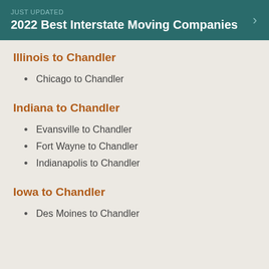JUST UPDATED
2022 Best Interstate Moving Companies
Illinois to Chandler
Chicago to Chandler
Indiana to Chandler
Evansville to Chandler
Fort Wayne to Chandler
Indianapolis to Chandler
Iowa to Chandler
Des Moines to Chandler